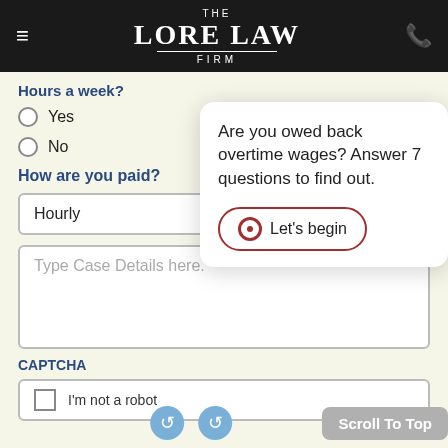THE LORE LAW FIRM
Hours a week?
Yes
No
How are you paid?
Hourly
Type Case Details here.
CAPTCHA
I'm not a robot
Are you owed back overtime wages? Answer 7 questions to find out.
Let's begin
Scroll To Top